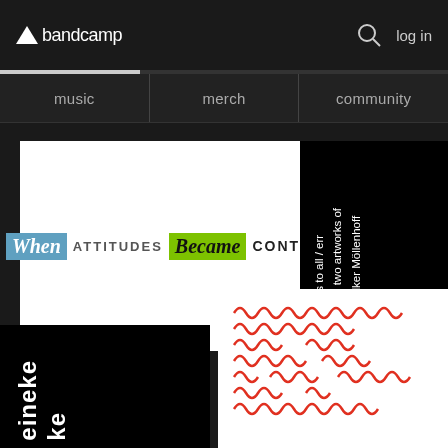bandcamp — log in
music   merch   community
[Figure (screenshot): Bandcamp website screenshot showing album artwork grid. Top-left white card reads 'When ATTITUDES Became CONTENT'. Top-right black card reads 'yes to all / err On two artworks of Volker Möllenhoff' in vertical text. Bottom-right white card shows red zigzag wave patterns. Bottom-left black card shows partial text 'eineke ke' in vertical white text.]